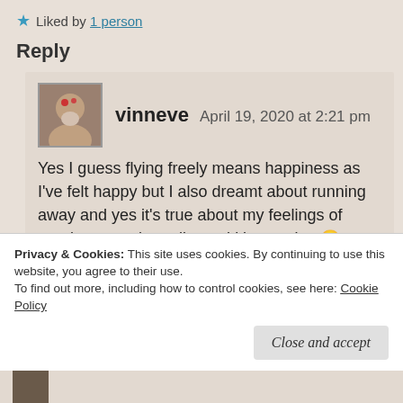Liked by 1 person
Reply
vinneve    April 19, 2020 at 2:21 pm
Yes I guess flying freely means happiness as I've felt happy but I also dreamt about running away and yes it's true about my feelings of running away in reality and it's not nice 😕
Privacy & Cookies: This site uses cookies. By continuing to use this website, you agree to their use.
To find out more, including how to control cookies, see here: Cookie Policy
Close and accept